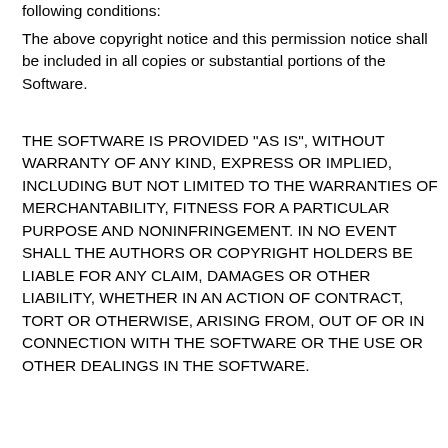following conditions:
The above copyright notice and this permission notice shall be included in all copies or substantial portions of the Software.
THE SOFTWARE IS PROVIDED "AS IS", WITHOUT WARRANTY OF ANY KIND, EXPRESS OR IMPLIED, INCLUDING BUT NOT LIMITED TO THE WARRANTIES OF MERCHANTABILITY, FITNESS FOR A PARTICULAR PURPOSE AND NONINFRINGEMENT. IN NO EVENT SHALL THE AUTHORS OR COPYRIGHT HOLDERS BE LIABLE FOR ANY CLAIM, DAMAGES OR OTHER LIABILITY, WHETHER IN AN ACTION OF CONTRACT, TORT OR OTHERWISE, ARISING FROM, OUT OF OR IN CONNECTION WITH THE SOFTWARE OR THE USE OR OTHER DEALINGS IN THE SOFTWARE.